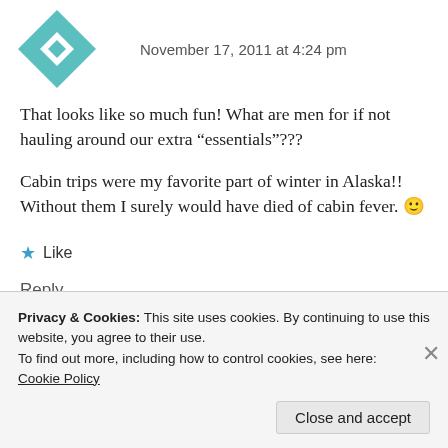November 17, 2011 at 4:24 pm
[Figure (illustration): Teal and white geometric quilt pattern avatar icon]
That looks like so much fun! What are men for if not hauling around our extra “essentials”???
Cabin trips were my favorite part of winter in Alaska!! Without them I surely would have died of cabin fever. 🙂
★ Like
Reply
Privacy & Cookies: This site uses cookies. By continuing to use this website, you agree to their use.
To find out more, including how to control cookies, see here:
Cookie Policy
Close and accept